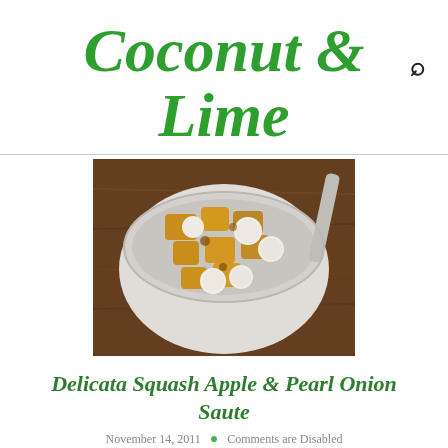Coconut & Lime
[Figure (photo): A white bowl filled with sautéed delicata squash chunks and pearl onions, placed on a dark wooden surface with a spoon visible in the background.]
Delicata Squash Apple & Pearl Onion Saute
November 14, 2011 • Comments are Disabled